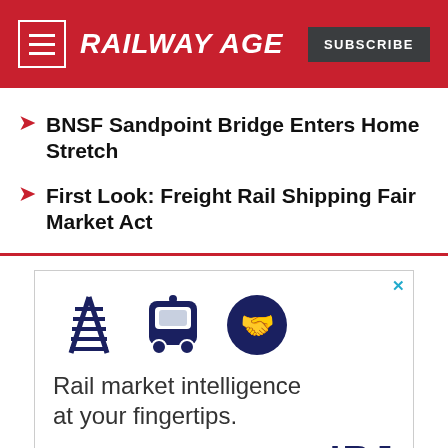RAILWAY AGE
BNSF Sandpoint Bridge Enters Home Stretch
First Look: Freight Rail Shipping Fair Market Act
[Figure (illustration): Advertisement for IRJ - Rail market intelligence at your fingertips. Shows icons of railway tracks, a train, and a handshake. IRJ logo at bottom right.]